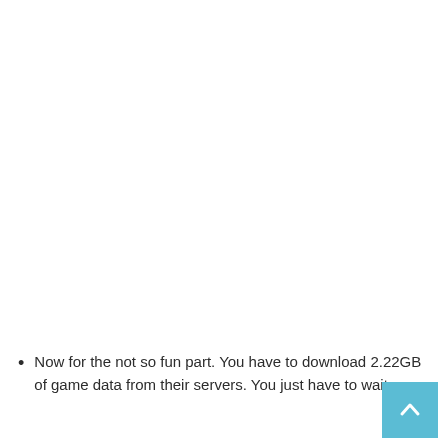Now for the not so fun part. You have to download 2.22GB of game data from their servers. You just have to wait.